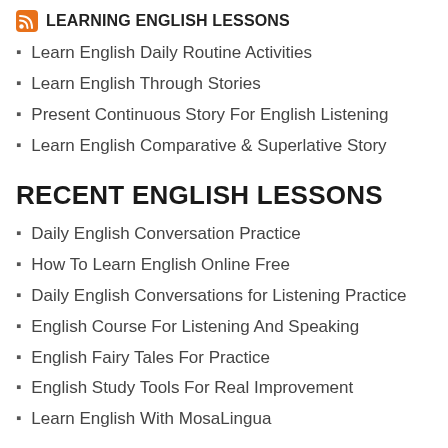LEARNING ENGLISH LESSONS
Learn English Daily Routine Activities
Learn English Through Stories
Present Continuous Story For English Listening
Learn English Comparative & Superlative Story
RECENT ENGLISH LESSONS
Daily English Conversation Practice
How To Learn English Online Free
Daily English Conversations for Listening Practice
English Course For Listening And Speaking
English Fairy Tales For Practice
English Study Tools For Real Improvement
Learn English With MosaLingua
SPEAK ENGLISH ONLINE
[Figure (photo): Photo of a person, partially visible at the bottom of the page]